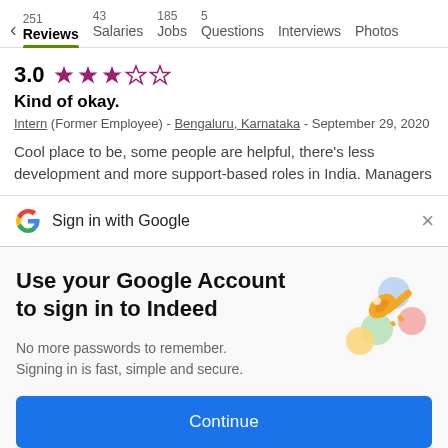251 Reviews | 43 Salaries | 185 Jobs | 5 Questions | Interviews | Photos
3.0 ★★★☆☆
Kind of okay.
Intern (Former Employee) - Bengaluru, Karnataka - September 29, 2020
Cool place to be, some people are helpful, there's less development and more support-based roles in India. Managers
Sign in with Google
Use your Google Account to sign in to Indeed
No more passwords to remember. Signing in is fast, simple and secure.
[Figure (illustration): Colorful illustration of a key with circular icons around it]
Continue